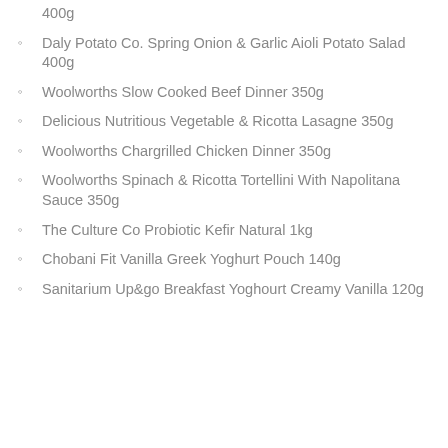400g
Daly Potato Co. Spring Onion & Garlic Aioli Potato Salad 400g
Woolworths Slow Cooked Beef Dinner 350g
Delicious Nutritious Vegetable & Ricotta Lasagne 350g
Woolworths Chargrilled Chicken Dinner 350g
Woolworths Spinach & Ricotta Tortellini With Napolitana Sauce 350g
The Culture Co Probiotic Kefir Natural 1kg
Chobani Fit Vanilla Greek Yoghurt Pouch 140g
Sanitarium Up&go Breakfast Yoghourt Creamy Vanilla 120g